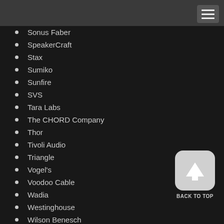Sonus Faber
SpeakerCraft
Stax
Sumiko
Sunfire
SVS
Tara Labs
The CHORD Company
Thor
Tivoli Audio
Triangle
Vogel's
Voodoo Cable
Wadia
Westinghouse
Wilson Benesch
[Figure (other): Back to top button - upward arrow icon in rounded gray square with label BACK TO TOP]